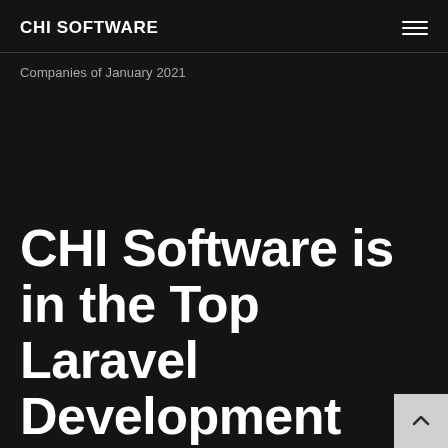CHI SOFTWARE
Companies of January 2021
CHI Software is in the Top Laravel Development Companies of January 2021